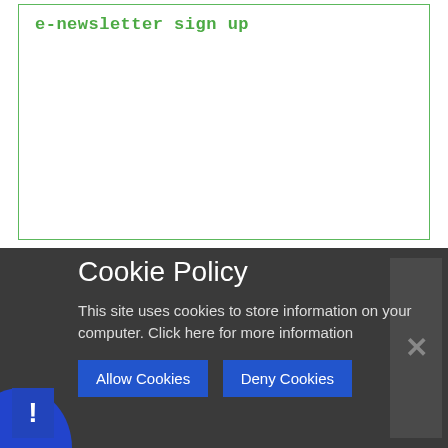e-newsletter sign up
Cookie Policy
This site uses cookies to store information on your computer. Click here for more information
Allow Cookies   Deny Cookies